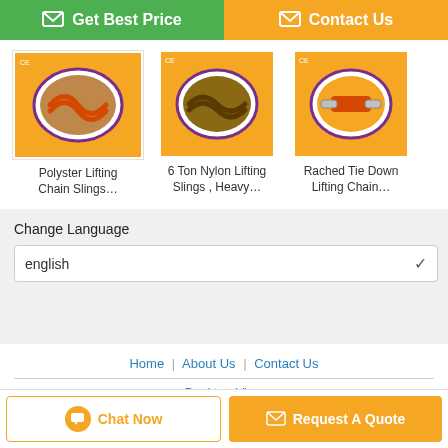[Figure (screenshot): Green 'Get Best Price' button with chat icon on left, orange 'Contact Us' button with envelope icon on right]
[Figure (photo): Product image: Polyster Lifting Chain Slings on orange background]
Polyster Lifting Chain Slings…
[Figure (photo): Product image: 6 Ton Nylon Lifting Slings, Heavy... on orange background]
6 Ton Nylon Lifting Slings , Heavy…
[Figure (photo): Product image: Rached Tie Down Lifting Chain... on orange background]
Rached Tie Down Lifting Chain…
Change Language
english
Home | About Us | Contact Us
Desktop View
Copyright © 2019 - 2022 liftingchainblock.com. All rights reserved.
[Figure (screenshot): Orange 'Chat Now' button with chat icon, and orange 'Request A Quote' button with envelope icon at bottom]